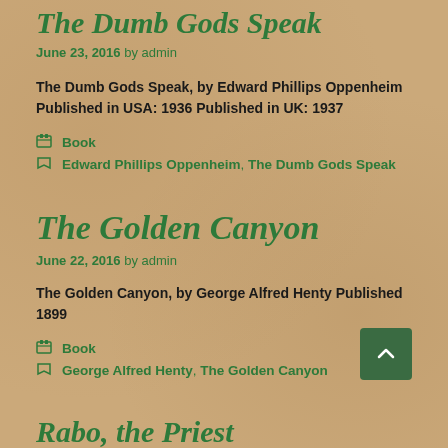The Dumb Gods Speak
June 23, 2016 by admin
The Dumb Gods Speak, by Edward Phillips Oppenheim Published in USA: 1936 Published in UK: 1937
Book
Edward Phillips Oppenheim, The Dumb Gods Speak
The Golden Canyon
June 22, 2016 by admin
The Golden Canyon, by George Alfred Henty Published 1899
Book
George Alfred Henty, The Golden Canyon
Rabo, the Priest